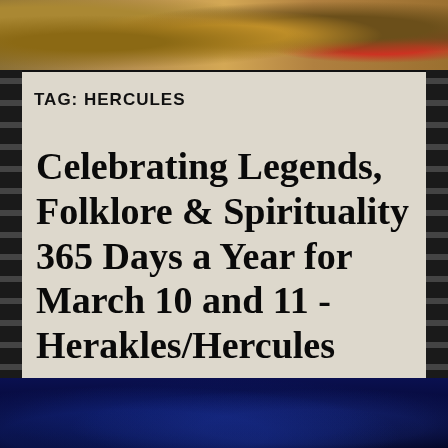[Figure (photo): Top decorative photo showing wheat stalks, dried herbs, flowers (red and purple) arranged on a burlap/natural fabric background]
TAG: HERCULES
Celebrating Legends, Folklore & Spirituality 365 Days a Year for March 10 and 11 - Herakles/Hercules
[Figure (photo): Bottom decorative photo showing dark blue/teal mystical geometric pattern with star/pentagram design]